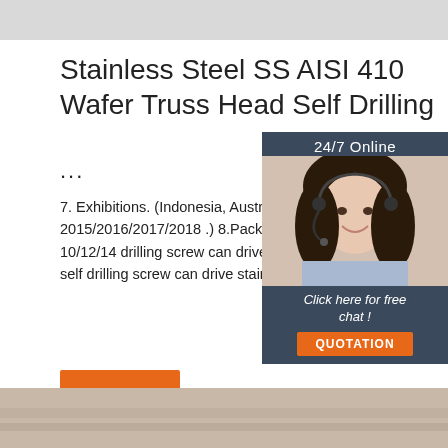[Figure (photo): Gray banner strip at top of page]
Stainless Steel SS AISI 410 Wafer Truss Head Self Drilling ...
7. Exhibitions. (Indonesia, Australia,Shanghai Fastener 2015/2016/2017/2018 .) 8.Packing workable) 9.Quality. SS410 Gauge 10/12/14 drilling screw can drive at least 3 mm stainless 304 plate, SS550 self drilling screw can drive stainless steel 304 plate with a point 3 tail . 1
[Figure (photo): Customer service agent photo with 24/7 Online label, Click here for free chat text, and QUOTATION button on dark blue sidebar overlay]
[Figure (photo): Product photo strip at bottom — stainless steel screws on light surface]